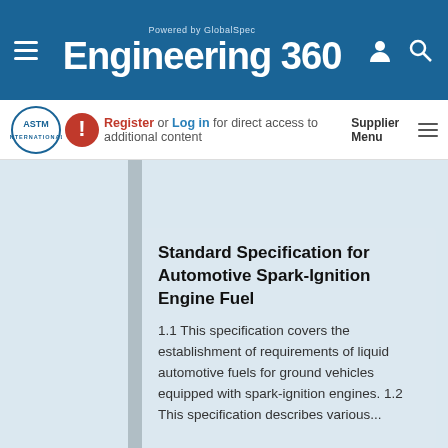Powered by GlobalSpec — Engineering 360
Register or Log in for direct access to additional content
Supplier Menu
Standard Specification for Automotive Spark-Ignition Engine Fuel
1.1 This specification covers the establishment of requirements of liquid automotive fuels for ground vehicles equipped with spark-ignition engines. 1.2 This specification describes various...
GlobalSpec websites place cookies on your device to give you the best user experience. By using our websites, you agree to the placement of these cookies. To learn more, read our Privacy Policy
Accept & Close